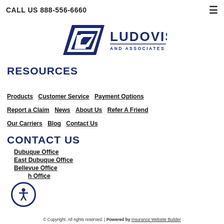CALL US 888-556-6660
[Figure (logo): Ludovissy and Associates Insurance logo with stylized L emblem in dark navy blue]
RESOURCES
Products
Customer Service
Payment Options
Report a Claim
News
About Us
Refer A Friend
Our Carriers
Blog
Contact Us
CONTACT US
Dubuque Office
East Dubuque Office
Bellevue Office
...h Office
© Copyright. All rights reserved. | Powered by Insurance Website Builder